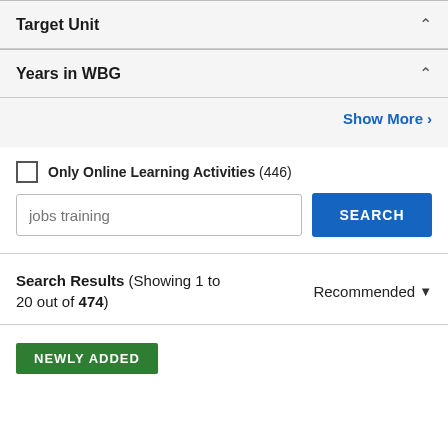Target Unit
Years in WBG
Show More ›
Only Online Learning Activities (446)
jobs training
SEARCH
Search Results (Showing 1 to 20 out of 474)
Recommended
NEWLY ADDED